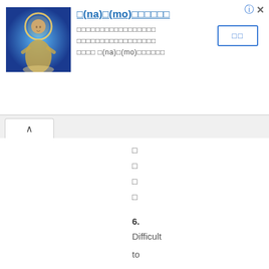[Figure (illustration): Buddhist statue image on blue background]
□(na)□(mo)□□□□□□
□□□□□□□□□□□□□□□□□□□□□□□□□□□□□□□□□□□□□□□ □□□□ □(na)□(mo)□□□□□□
□□
□
□
□
□
6.
Difficult
to
resolve,
accomplish,
or
finish:
□□□
□□□
□□□
□□□
□□□
□□□